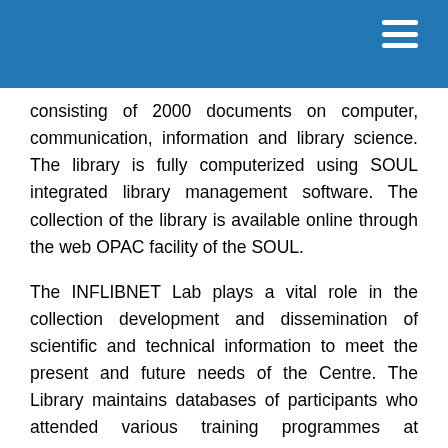consisting of 2000 documents on computer, communication, information and library science. The library is fully computerized using SOUL integrated library management software. The collection of the library is available online through the web OPAC facility of the SOUL.
The INFLIBNET Lab plays a vital role in the collection development and dissemination of scientific and technical information to meet the present and future needs of the Centre. The Library maintains databases of participants who attended various training programmes at INFLIBNET Centre; SOUL installations; and universities and its contact details including e-mail and website addresses. These databases are accessible through the library website at